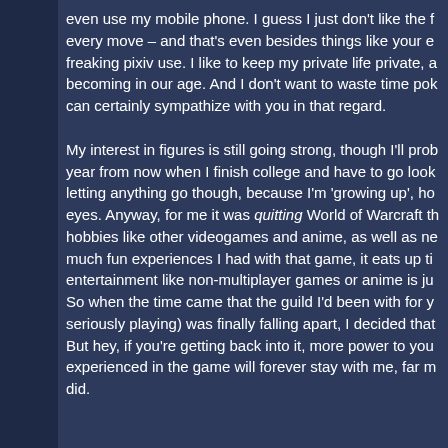even use my mobile phone. I guess I just don't like the f... every move – and that's even besides things like your e... freaking pixiv use. I like to keep my private life private, a... becoming in our age. And I don't want to waste time pok... can certainly sympathize with you in that regard.
My interest in figures is still going strong, though I'll prob... year from now when I finish college and have to go look... letting anything go though, because I'm 'growing up', ho... eyes. Anyway, for me it was quitting World of Warcraft th... hobbies like other videogames and anime, as well as ne... much fun experiences I had with that game, it eats up ti... entertainment like non-multiplayer games or anime is ju... So when the time came that the guild I'd been with for y... seriously playing) was finally falling apart, I decided that... But hey, if you're getting back into it, more power to you... experienced in the game will forever stay with me, far m... did.